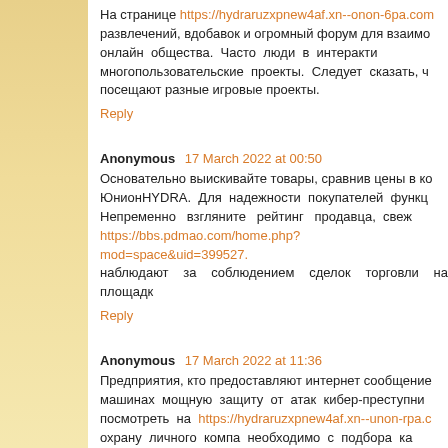На странице https://hydraruzxpnew4af.xn--onon-6pa.com развлечений, вдобавок и огромный форум для взаимо онлайн общества. Часто люди в интеракти многопользовательские проекты. Следует сказать, ч посещают разные игровые проекты.
Reply
Anonymous 17 March 2022 at 00:50
Основательно выискивайте товары, сравнив цены в ко ЮнионHYDRA. Для надежности покупателей функц Непременно взгляните рейтинг продавца, свеж https://bbs.pdmao.com/home.php?mod=space&uid=399527. наблюдают за соблюдением сделок торговли на площадк
Reply
Anonymous 17 March 2022 at 11:36
Предприятия, кто предоставляют интернет сообщение машинах мощную защиту от атак кибер-преступни посмотреть на https://hydraruzxpnew4af.xn--unon-rpa.c охрану личного компа необходимо с подбора ка Сегодняшние файерволы – наилучшая защита от вторж интернет.